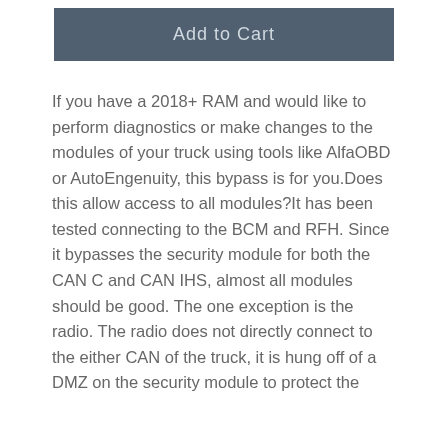Add to Cart
If you have a 2018+ RAM and would like to perform diagnostics or make changes to the modules of your truck using tools like AlfaOBD or AutoEngenuity, this bypass is for you.Does this allow access to all modules?It has been tested connecting to the BCM and RFH. Since it bypasses the security module for both the CAN C and CAN IHS, almost all modules should be good. The one exception is the radio. The radio does not directly connect to the either CAN of the truck, it is hung off of a DMZ on the security module to protect the